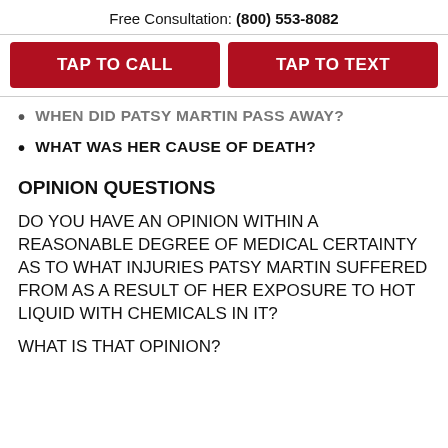Free Consultation: (800) 553-8082
TAP TO CALL
TAP TO TEXT
WHEN DID PATSY MARTIN PASS AWAY?
WHAT WAS HER CAUSE OF DEATH?
OPINION QUESTIONS
DO YOU HAVE AN OPINION WITHIN A REASONABLE DEGREE OF MEDICAL CERTAINTY AS TO WHAT INJURIES PATSY MARTIN SUFFERED FROM AS A RESULT OF HER EXPOSURE TO HOT LIQUID WITH CHEMICALS IN IT?
WHAT IS THAT OPINION?